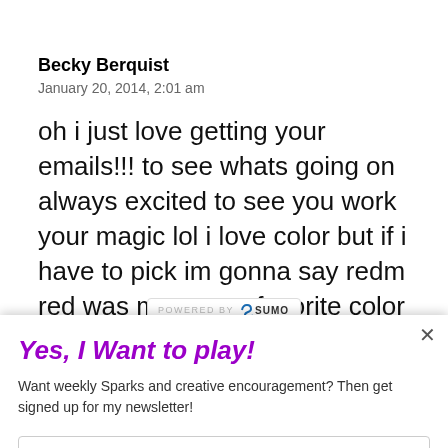Becky Berquist
January 20, 2014, 2:01 am
oh i just love getting your emails!!! to see whats going on always excited to see you work your magic lol i love color but if i have to pick im gonna say redm red was my moms favorite color and i lost her 2 yrs ago and since then i navigate to red probably cause im always thinking
Yes, I Want to play!
Want weekly Sparks and creative encouragement? Then get signed up for my newsletter!
Enter your Email
Send me the newsletter!
Yes, I would like you to send me a newsletter.